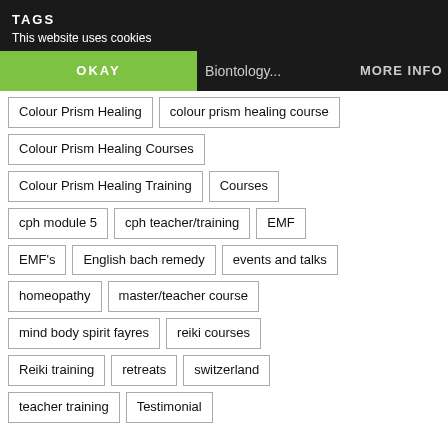TAGS
This website uses cookies
OKAY
Biontology...
MORE INFO
Colour Prism Healing
colour prism healing course
Colour Prism Healing Courses
Colour Prism Healing Training
Courses
cph module 5
cph teacher/training
EMF
EMF's
English bach remedy
events and talks
homeopathy
master/teacher course
mind body spirit fayres
reiki courses
Reiki training
retreats
switzerland
teacher training
Testimonial